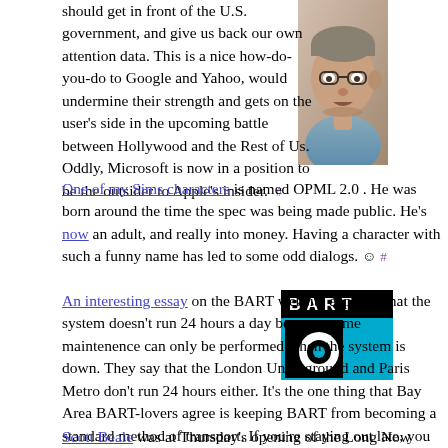should get in front of the U.S. government, and give us back our own attention data. This is a nice how-do-you-do to Google and Yahoo, would undermine their strength and gets on the user's side in the upcoming battle between Hollywood and the Rest of Us. Oddly, Microsoft is now in a position to be the outsider to Apple's insider. #
[Figure (photo): Headshot photo of a man with glasses, appearing to speak]
One of my Sims characters is named OPML 2.0 . He was born around the time the spec was being made public. He's now an adult, and really into money. Having a character with such a funny name has led to some odd dialogs. :) #
An interesting essay on the BART website explains that the system doesn't run 24 hours a day because some maintenence can only be performed when the system is down. They say that the London Underground and Paris Metro don't run 24 hours either. It's the one thing that Bay Area BART-lovers agree is keeping BART from becoming a standard method of transport. If you're staying out late, you still have to drive. #
[Figure (logo): BART (Bay Area Rapid Transit) logo — black and teal with bold 'bart' lettering]
Scott Beale was at Thursday's opening of the Long Now